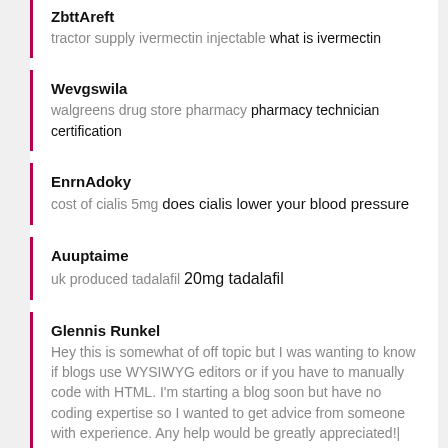ZbttAreft
tractor supply ivermectin injectable what is ivermectin
Wevgswila
walgreens drug store pharmacy pharmacy technician certification
EnrnAdoky
cost of cialis 5mg does cialis lower your blood pressure
Auuptaime
uk produced tadalafil 20mg tadalafil
Glennis Runkel
Hey this is somewhat of off topic but I was wanting to know if blogs use WYSIWYG editors or if you have to manually code with HTML. I'm starting a blog soon but have no coding expertise so I wanted to get advice from someone with experience. Any help would be greatly appreciated!|